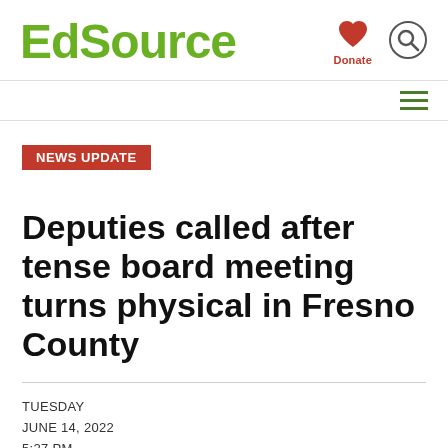EdSource
NEWS UPDATE
Deputies called after tense board meeting turns physical in Fresno County
TUESDAY
JUNE 14, 2022
5:27 PM